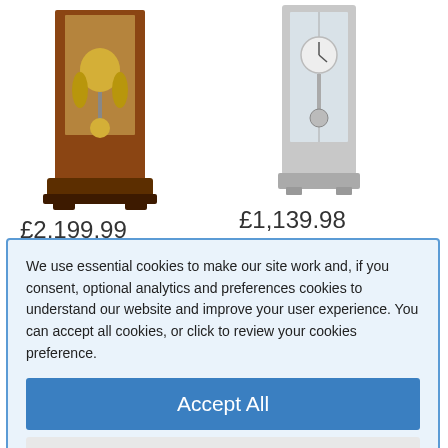[Figure (photo): Grandfather clock with cherry/mahogany wooden case, glass front panel showing gold pendulum and weights]
£2,199.99
Shipping Included
[Figure (photo): Modern silver/chrome grandfather clock with glass front panel]
£1,139.98
Shipping Included
We use essential cookies to make our site work and, if you consent, optional analytics and preferences cookies to understand our website and improve your user experience. You can accept all cookies, or click to review your cookies preference.
Accept All
Review